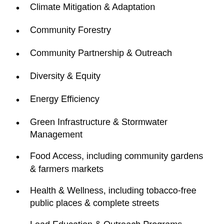Climate Mitigation & Adaptation
Community Forestry
Community Partnership & Outreach
Diversity & Equity
Energy Efficiency
Green Infrastructure & Stormwater Management
Food Access, including community gardens & farmers markets
Health & Wellness, including tobacco-free public places & complete streets
Lead Education & Outreach Programs
Recycling, Litter, & Illegal Dumping Education